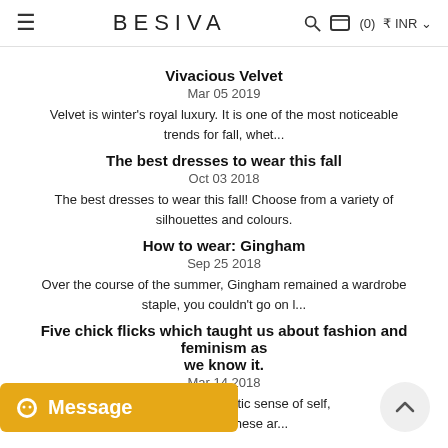≡  BESIVA  🔍 🛒(0) ₹ INR ∨
Vivacious Velvet
Mar 05 2019
Velvet is winter's royal luxury. It is one of the most noticeable trends for fall, whet...
The best dresses to wear this fall
Oct 03 2018
The best dresses to wear this fall! Choose from a variety of silhouettes and colours.
How to wear: Gingham
Sep 25 2018
Over the course of the summer, Gingham remained a wardrobe staple, you couldn't go on l...
Five chick flicks which taught us about fashion and feminism as we know it.
Mar 14 2018
...rs with an unapologetic sense of self, nd fashion. These ar...